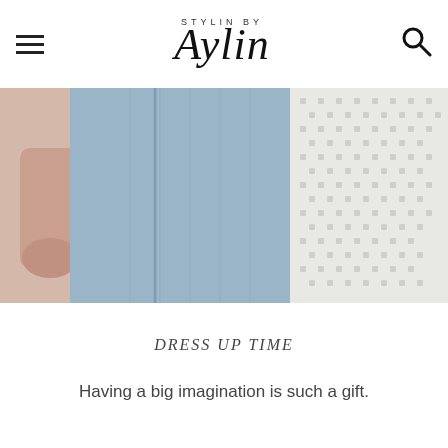STYLIN BY Aylin
[Figure (photo): Close-up photo of light blue denim jeans fabric on the left half and a white lacy/patterned fabric on the right half, with a hand visible at the far left.]
DRESS UP TIME
Having a big imagination is such a gift.